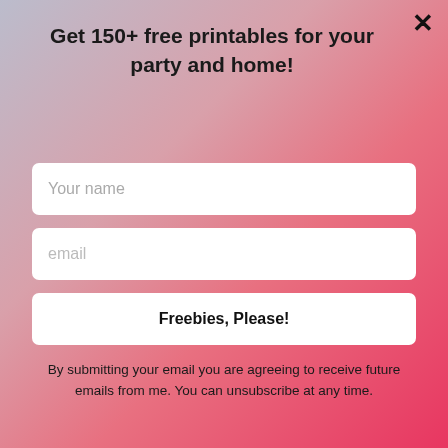Get 150+ free printables for your party and home!
[Figure (screenshot): Web form modal with gradient pink/mauve background. Contains Your name input field, email input field, Freebies Please button, and disclaimer text.]
Your name
email
Freebies, Please!
By submitting your email you are agreeing to receive future emails from me. You can unsubscribe at any time.
Email*
Send them to me!
The little bunny below can be found in my shop. You might also be able to find her here on the blog. Just use the search function to